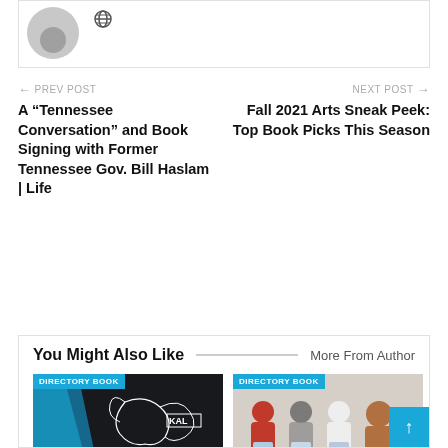[Figure (illustration): User avatar placeholder (grey silhouette) with a small globe icon to the right]
← PREV POST
A “Tennessee Conversation” and Book Signing with Former Tennessee Gov. Bill Haslam | Life
NEXT POST →
Fall 2021 Arts Sneak Peek: Top Book Picks This Season
You Might Also Like
More From Author
[Figure (screenshot): Directory Book thumbnail showing Kali Linux logo on dark background with blue diagonal shapes]
[Figure (photo): Directory Book thumbnail showing a group of women holding books/bags]